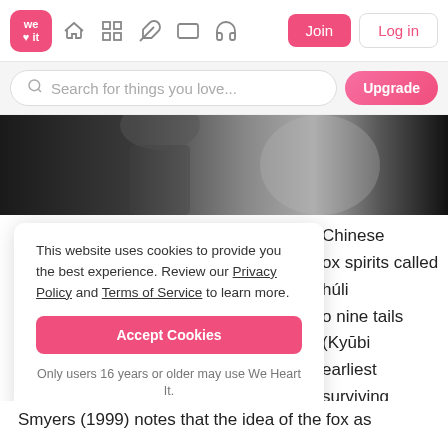We Heart It navigation bar with Join and Log in buttons
Search for things you love...
[Figure (photo): Black and white photo of a person, cropped, dark background]
This website uses cookies to provide you the best experience. Review our Privacy Policy and Terms of Service to learn more. Accept Cookies Only users 16 years or older may use We Heart It.
Chinese ox spirits called húli o nine tails (Kyūbi earliest surviving onogatarishū, an dian, and foxes came to be nology to Japanese mythology.
Smyers (1999) notes that the idea of the fox as